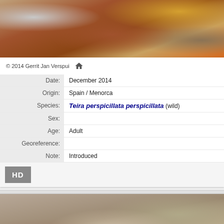[Figure (photo): Close-up photo of rocky surface with reddish-brown rocks and lichen, habitat of the lizard]
© 2014 Gerrit Jan Verspui
| Date: | December 2014 |
| Origin: | Spain / Menorca |
| Species: | Teira perspicillata perspicillata (wild) |
| Sex: |  |
| Age: | Adult |
| Georeference: |  |
| Note: | Introduced |
[Figure (photo): Close-up photo of a lizard (Teira perspicillata perspicillata) on rocky ground in Menorca, Spain]